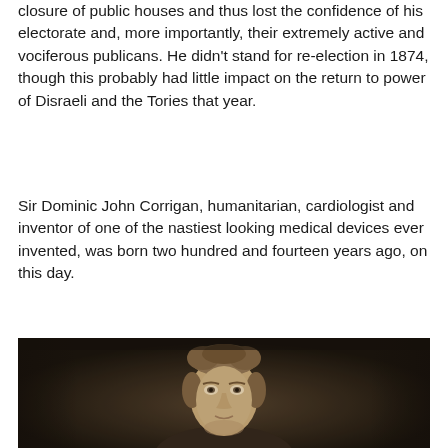closure of public houses and thus lost the confidence of his electorate and, more importantly, their extremely active and vociferous publicans. He didn't stand for re-election in 1874, though this probably had little impact on the return to power of Disraeli and the Tories that year.
Sir Dominic John Corrigan, humanitarian, cardiologist and inventor of one of the nastiest looking medical devices ever invented, was born two hundred and fourteen years ago, on this day.
[Figure (photo): Sepia-toned historical portrait photograph of Sir Dominic John Corrigan, showing a middle-aged man with wavy hair, looking slightly upward, wearing formal attire with a white collar.]